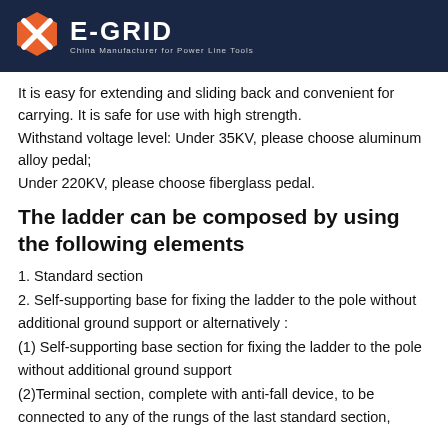E-GRID China Manufacturer for Power Line Tools
It is easy for extending and sliding back and convenient for carrying. It is safe for use with high strength. Withstand voltage level: Under 35KV, please choose aluminum alloy pedal; Under 220KV, please choose fiberglass pedal.
The ladder can be composed by using the following elements
1. Standard section
2. Self-supporting base for fixing the ladder to the pole without additional ground support or alternatively :
(1) Self-supporting base section for fixing the ladder to the pole without additional ground support
(2)Terminal section, complete with anti-fall device, to be connected to any of the rungs of the last standard section,